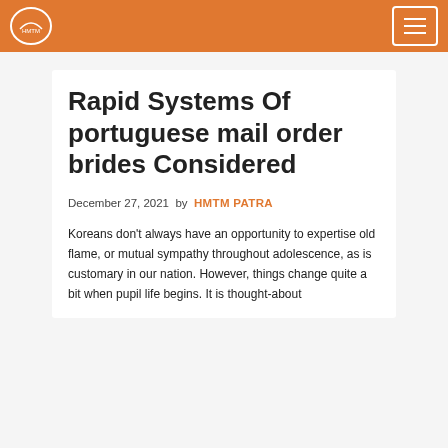Rapid Systems Of portuguese mail order brides Considered
December 27, 2021 by HMTM PATRA
Koreans don't always have an opportunity to expertise old flame, or mutual sympathy throughout adolescence, as is customary in our nation. However, things change quite a bit when pupil life begins. It is thought-about